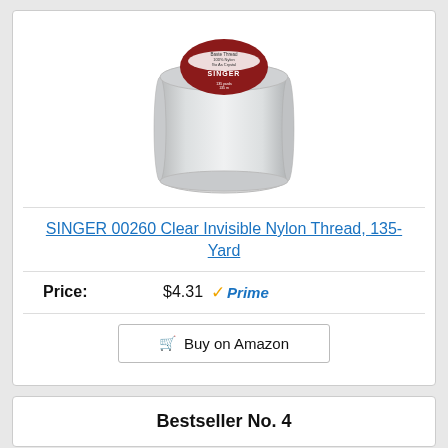[Figure (photo): A spool of SINGER 00260 Clear Invisible Nylon Thread, 135-Yard. The spool is transparent/white with a red and white label on top reading SINGER.]
SINGER 00260 Clear Invisible Nylon Thread, 135-Yard
Price: $4.31 Prime
Buy on Amazon
Bestseller No. 4